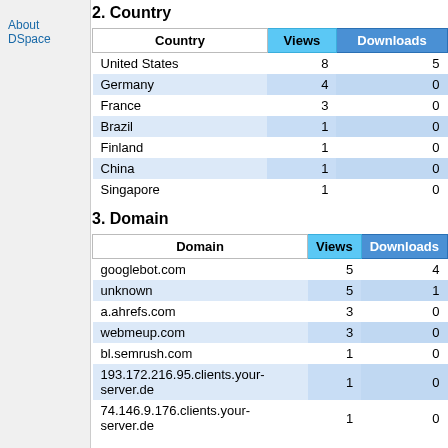About DSpace
2. Country
| Country | Views | Downloads |
| --- | --- | --- |
| United States | 8 | 5 |
| Germany | 4 | 0 |
| France | 3 | 0 |
| Brazil | 1 | 0 |
| Finland | 1 | 0 |
| China | 1 | 0 |
| Singapore | 1 | 0 |
3. Domain
| Domain | Views | Downloads |
| --- | --- | --- |
| googlebot.com | 5 | 4 |
| unknown | 5 | 1 |
| a.ahrefs.com | 3 | 0 |
| webmeup.com | 3 | 0 |
| bl.semrush.com | 1 | 0 |
| 193.172.216.95.clients.your-server.de | 1 | 0 |
| 74.146.9.176.clients.your-server.de | 1 | 0 |